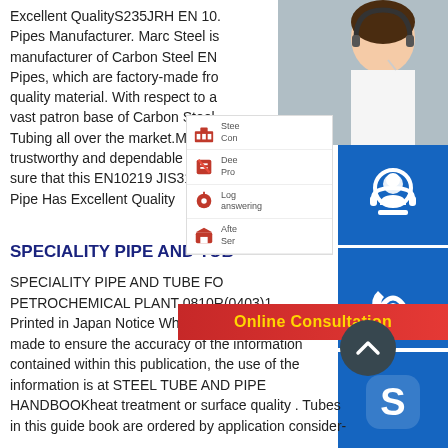Excellent QualityS235JRH EN 10. Pipes Manufacturer. Marc Steel is manufacturer of Carbon Steel EN Pipes, which are factory-made from quality material. With respect to a vast patron base of Carbon Steel Tubing all over the market.Moreover trustworthy and dependable manufacturer sure that this EN10219 JIS3101 B Pipe Has Excellent Quality
[Figure (photo): Customer service representative woman with headset smiling]
[Figure (infographic): Service menu panel with four items: Steel Construction, Deep Processing, Logistics/answering, After-sales Service — each with red icon]
[Figure (infographic): Blue button with headset/customer icon]
[Figure (infographic): Blue button with phone/call icon]
[Figure (infographic): Blue button with Skype icon]
[Figure (infographic): Online Consultation red bar with yellow text and scroll-up circle button]
SPECIALITY PIPE AND TUB
SPECIALITY PIPE AND TUBE FOR PETROCHEMICAL PLANT 0810R(0403)1 Printed in Japan Notice While every effort has been made to ensure the accuracy of the information contained within this publication, the use of the information is at STEEL TUBE AND PIPE HANDBOOKheat treatment or surface quality . Tubes in this guide book are ordered by application consider-